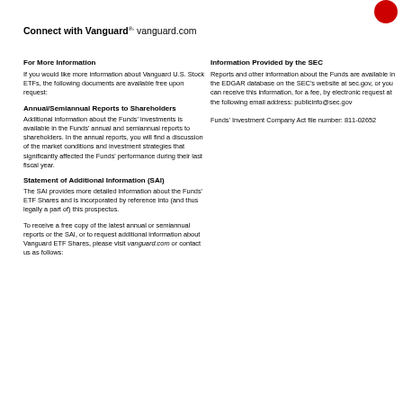[Figure (logo): Vanguard red circular logo in top right corner]
Connect with Vanguard®> vanguard.com
For More Information
If you would like more information about Vanguard U.S. Stock ETFs, the following documents are available free upon request:
Annual/Semiannual Reports to Shareholders
Additional information about the Funds' investments is available in the Funds' annual and semiannual reports to shareholders. In the annual reports, you will find a discussion of the market conditions and investment strategies that significantly affected the Funds' performance during their last fiscal year.
Statement of Additional Information (SAI)
The SAI provides more detailed information about the Funds' ETF Shares and is incorporated by reference into (and thus legally a part of) this prospectus.
To receive a free copy of the latest annual or semiannual reports or the SAI, or to request additional information about Vanguard ETF Shares, please visit vanguard.com or contact us as follows:
Information Provided by the SEC
Reports and other information about the Funds are available in the EDGAR database on the SEC's website at sec.gov, or you can receive this information, for a fee, by electronic request at the following email address: publicinfo@sec.gov
Funds' Investment Company Act file number: 811-02652